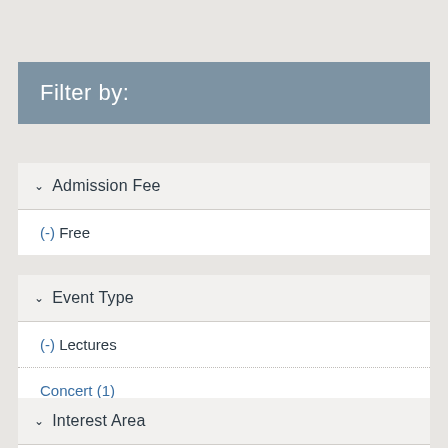Filter by:
Admission Fee
(-) Free
Event Type
(-) Lectures
Concert (1)
Lifelong Learning (2)
Interest Area